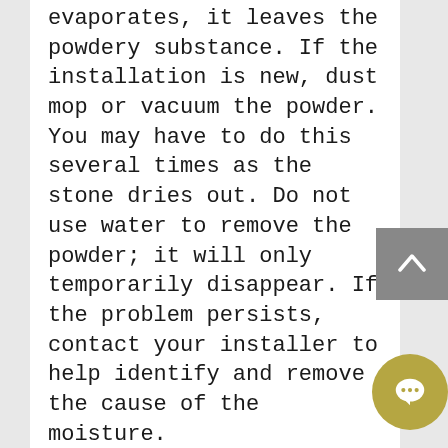evaporates, it leaves the powdery substance. If the installation is new, dust mop or vacuum the powder. You may have to do this several times as the stone dries out. Do not use water to remove the powder; it will only temporarily disappear. If the problem persists, contact your installer to help identify and remove the cause of the moisture.
Scratches and Nicks: Slightly surface scratches may be